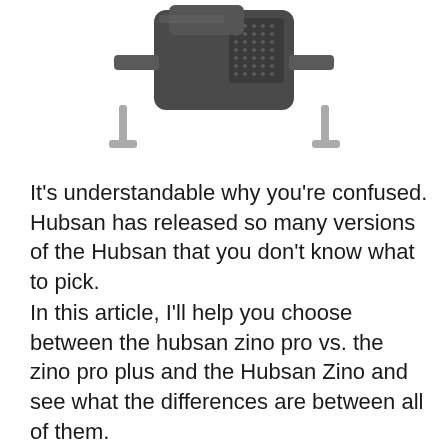[Figure (photo): Partial view of a Hubsan Zino Pro drone, showing the body and landing gear from above/front angle, on white background]
It's understandable why you're confused. Hubsan has released so many versions of the Hubsan that you don't know what to pick.
In this article, I'll help you choose between the hubsan zino pro vs. the zino pro plus and the Hubsan Zino and see what the differences are between all of them.